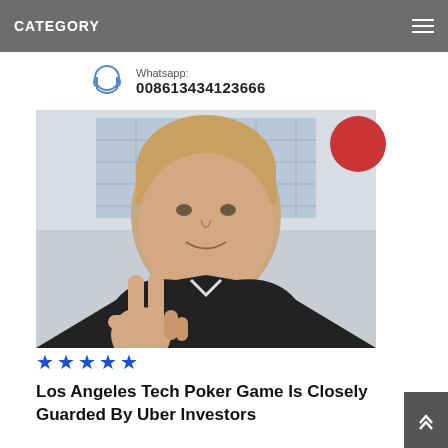CATEGORY
Whatsapp: 008613434123666
[Figure (photo): Man with blonde hair making a peace sign with his hand, wearing a black shirt, in front of a modern building with glass facade. A red circle overlay is visible in the upper right of the photo.]
★★★★★
Los Angeles Tech Poker Game Is Closely Guarded By Uber Investors